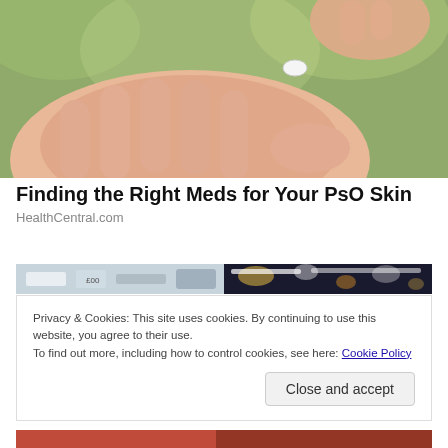[Figure (photo): Close-up photo of hands exchanging a small pill or tablet, shot against a blurred green background. One hand is palm-up receiving, the other dropping a white tablet.]
Finding the Right Meds for Your PsO Skin
HealthCentral.com
[Figure (photo): Partial image showing blurred storefront/pharmacy scene split — left side shows price tags and products, right side shows bokeh lights at night.]
Privacy & Cookies: This site uses cookies. By continuing to use this website, you agree to their use.
To find out more, including how to control cookies, see here: Cookie Policy
Close and accept
[Figure (photo): Partial strip of another photo at the bottom of the page, partially cropped.]